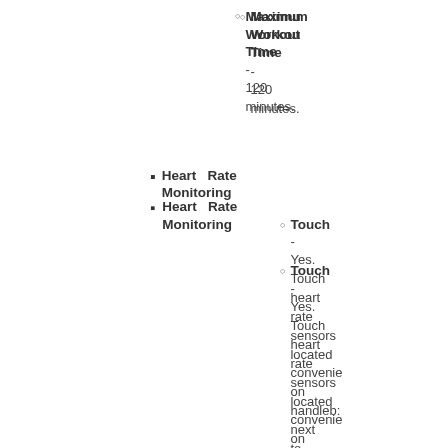Maximum Workout Time - 120 minutes.
Heart Rate Monitoring
Touch - Yes. Touch heart rate sensors located conveniently on handlebar next to seat.
Telemetry - Yes. Integrated telemetry heart rate reads heart rate from